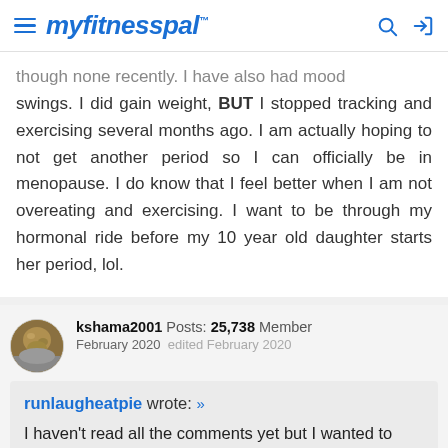myfitnesspal
though none recently. I have also had mood swings. I did gain weight, BUT I stopped tracking and exercising several months ago. I am actually hoping to not get another period so I can officially be in menopause. I do know that I feel better when I am not overeating and exercising. I want to be through my hormonal ride before my 10 year old daughter starts her period, lol.
kshama2001  Posts: 25,738  Member
February 2020  edited February 2020
runlaugheatpie wrote: »
I haven't read all the comments yet but I wanted to reply: